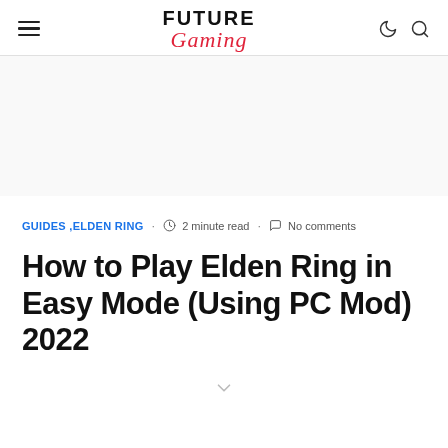FUTURE Gaming
GUIDES ,ELDEN RING · 2 minute read · No comments
How to Play Elden Ring in Easy Mode (Using PC Mod) 2022